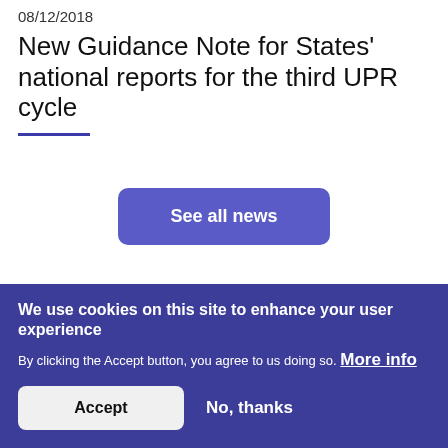08/12/2018
New Guidance Note for States' national reports for the third UPR cycle
See all news
We use cookies on this site to enhance your user experience
By clicking the Accept button, you agree to us doing so. More info
Accept
No, thanks